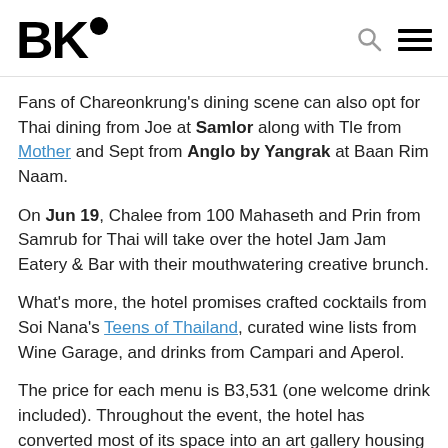BK•
Fans of Chareonkrung's dining scene can also opt for Thai dining from Joe at Samlor along with Tle from Mother and Sept from Anglo by Yangrak at Baan Rim Naam.
On Jun 19, Chalee from 100 Mahaseth and Prin from Samrub for Thai will take over the hotel Jam Jam Eatery & Bar with their mouthwatering creative brunch.
What's more, the hotel promises crafted cocktails from Soi Nana's Teens of Thailand, curated wine lists from Wine Garage, and drinks from Campari and Aperol.
The price for each menu is B3,531 (one welcome drink included). Throughout the event, the hotel has converted most of its space into an art gallery housing over 15 aspiring artists. For booking information, click here.